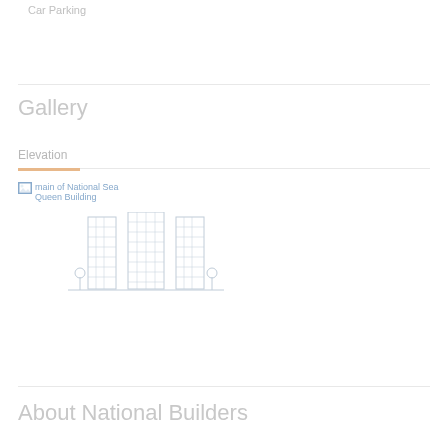Car Parking
Gallery
Elevation
[Figure (illustration): Broken image placeholder with text 'main of National Sea Queen Building' and a line-art illustration of a multi-tower building with trees at base]
About National Builders